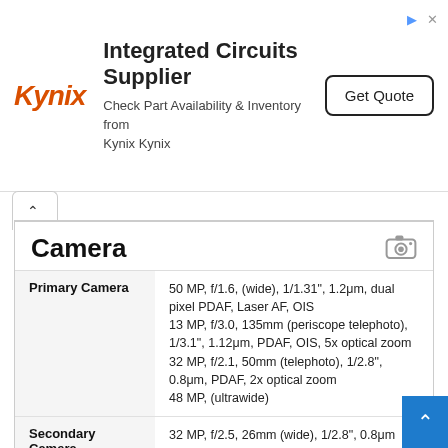[Figure (other): Kynix advertisement banner: Integrated Circuits Supplier, Check Part Availability & Inventory from Kynix Kynix, Get Quote button]
Camera
| Feature | Specification |
| --- | --- |
| Primary Camera | 50 MP, f/1.6, (wide), 1/1.31", 1.2μm, dual pixel PDAF, Laser AF, OIS
13 MP, f/3.0, 135mm (periscope telephoto), 1/3.1", 1.12μm, PDAF, OIS, 5x optical zoom
32 MP, f/2.1, 50mm (telephoto), 1/2.8", 0.8μm, PDAF, 2x optical zoom
48 MP, (ultrawide) |
| Secondary Camera | 32 MP, f/2.5, 26mm (wide), 1/2.8", 0.8μm |
| Video Recording | 8K@30fps, 4K@30/60fps, 1080p@30/60fps, gyro-EIS
4K@30fps, 1080p@30fps |